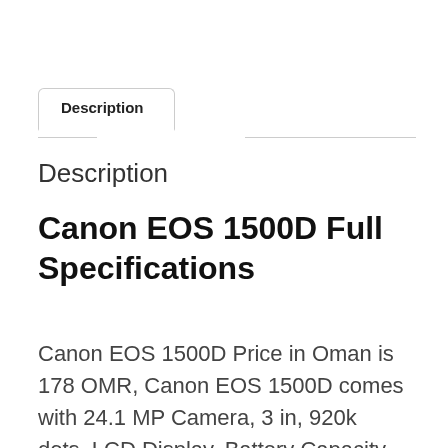Description
Canon EOS 1500D Full Specifications
Canon EOS 1500D Price in Oman is 178 OMR, Canon EOS 1500D comes with 24.1 MP Camera, 3 in, 920k dots, LCD Display, Battery Capacity 860 mAh and Lens Type Zoom